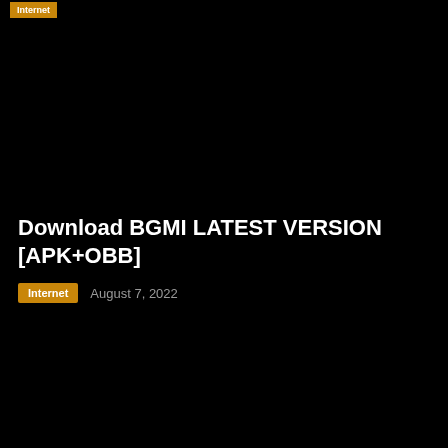Internet
Download BGMI LATEST VERSION [APK+OBB]
Internet   August 7, 2022